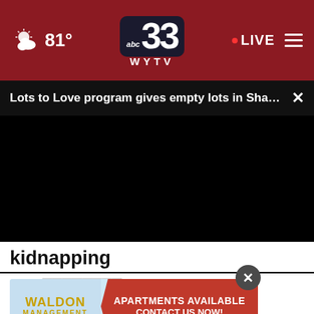81° | abc 33 WYTV | LIVE
Lots to Love program gives empty lots in Sharon a ... ×
[Figure (screenshot): Black video player with scrubber bar at bottom, showing 00:00, with play button, mute button, subtitle button, and fullscreen button on dark controls bar]
kidnapping
2  C[...] rs at O[...]
[Figure (infographic): Advertisement banner: WALDON MANAGEMENT - APARTMENTS AVAILABLE CONTACT US NOW! with red ribbon design]
×